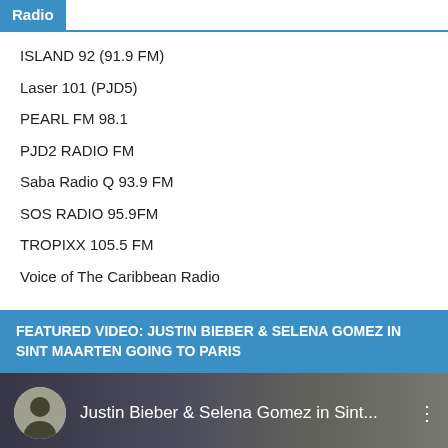Radio
ISLAND 92 (91.9 FM)
Laser 101 (PJD5)
PEARL FM 98.1
PJD2 RADIO FM
Saba Radio Q 93.9 FM
SOS RADIO 95.9FM
TROPIXX 105.5 FM
Voice of The Caribbean Radio
FEATURED VIDEO: JUSTIN BIEBER & SELENA GOMEZ IN SINT MAARTEN GOING TO PARIS
[Figure (screenshot): Video thumbnail showing Justin Bieber & Selena Gomez in Sint... with a circular avatar of a man on the left and a three-dot menu icon on the right, dark background]